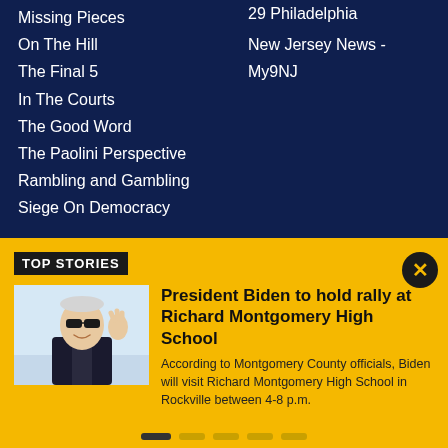Missing Pieces
On The Hill
The Final 5
In The Courts
The Good Word
The Paolini Perspective
Rambling and Gambling
Siege On Democracy
29 Philadelphia
New Jersey News - My9NJ
TOP STORIES
[Figure (photo): Photo of President Biden waving, wearing sunglasses and a dark suit]
President Biden to hold rally at Richard Montgomery High School
According to Montgomery County officials, Biden will visit Richard Montgomery High School in Rockville between 4-8 p.m.